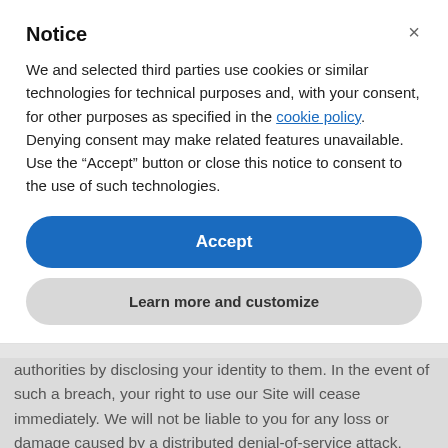Notice
We and selected third parties use cookies or similar technologies for technical purposes and, with your consent, for other purposes as specified in the cookie policy. Denying consent may make related features unavailable.
Use the “Accept” button or close this notice to consent to the use of such technologies.
Accept
Learn more and customize
authorities by disclosing your identity to them. In the event of such a breach, your right to use our Site will cease immediately. We will not be liable to you for any loss or damage caused by a distributed denial-of-service attack, viruses or other technologically harmful material that may